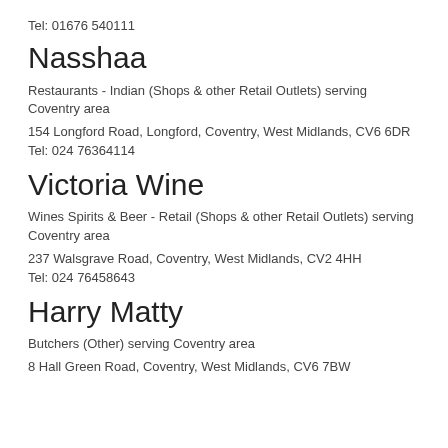Tel: 01676 540111
Nasshaa
Restaurants - Indian (Shops & other Retail Outlets) serving Coventry area
154 Longford Road, Longford, Coventry, West Midlands, CV6 6DR
Tel: 024 76364114
Victoria Wine
Wines Spirits & Beer - Retail (Shops & other Retail Outlets) serving Coventry area
237 Walsgrave Road, Coventry, West Midlands, CV2 4HH
Tel: 024 76458643
Harry Matty
Butchers (Other) serving Coventry area
8 Hall Green Road, Coventry, West Midlands, CV6 7BW